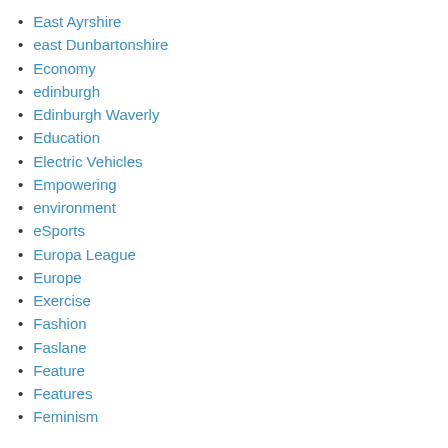East Ayrshire
east Dunbartonshire
Economy
edinburgh
Edinburgh Waverly
Education
Electric Vehicles
Empowering
environment
eSports
Europa League
Europe
Exercise
Fashion
Faslane
Feature
Features
Feminism